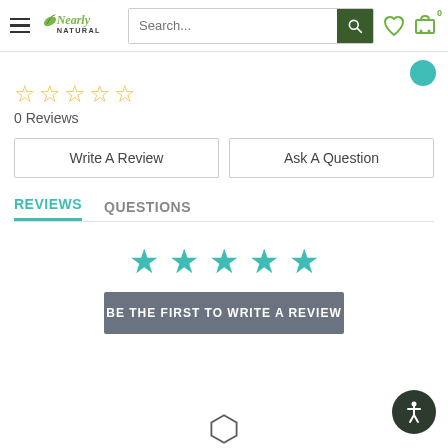Nearly Natural — Search bar with hamburger menu, heart icon, cart icon
[Figure (screenshot): Teal circular element partially visible at top right]
☆☆☆☆☆ 0 Reviews
Write A Review | Ask A Question
REVIEWS   QUESTIONS
[Figure (other): Five teal filled stars centered on page]
BE THE FIRST TO WRITE A REVIEW
[Figure (logo): Accessibility icon (person with arms out) in dark circle, bottom right]
[Figure (logo): Nearly Natural logo — hexagonal icon partially visible at bottom center]